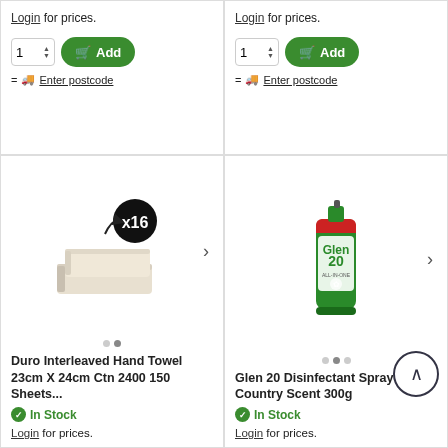Login for prices.
Login for prices.
[Figure (screenshot): Add to cart button with quantity selector (1) and green Add button with cart icon, plus Enter postcode link with truck icon]
[Figure (screenshot): Add to cart button with quantity selector (1) and green Add button with cart icon, plus Enter postcode link with truck icon]
[Figure (photo): Duro Interleaved Hand Towel paper towel product image with x16 badge]
[Figure (photo): Glen 20 Disinfectant Spray Country Scent 300g green aerosol can]
Duro Interleaved Hand Towel 23cm X 24cm Ctn 2400 150 Sheets...
Glen 20 Disinfectant Spray Country Scent 300g
In Stock
In Stock
Login for prices.
Login for prices.